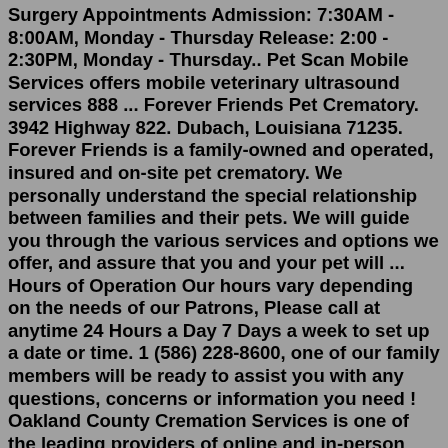Surgery Appointments Admission: 7:30AM - 8:00AM, Monday - Thursday Release: 2:00 - 2:30PM, Monday - Thursday.. Pet Scan Mobile Services offers mobile veterinary ultrasound services 888 ... Forever Friends Pet Crematory. 3942 Highway 822. Dubach, Louisiana 71235. Forever Friends is a family-owned and operated, insured and on-site pet crematory. We personally understand the special relationship between families and their pets. We will guide you through the various services and options we offer, and assure that you and your pet will ... Hours of Operation Our hours vary depending on the needs of our Patrons, Please call at anytime 24 Hours a Day 7 Days a week to set up a date or time. 1 (586) 228-8600, one of our family members will be ready to assist you with any questions, concerns or information you need ! Oakland County Cremation Services is one of the leading providers of online and in-person cremation arrangements in Clawson, Michigan. For immediate assistance, call 24 hours (248) 655-7032. Please claim your free online obituary. Click this link. Home; Get